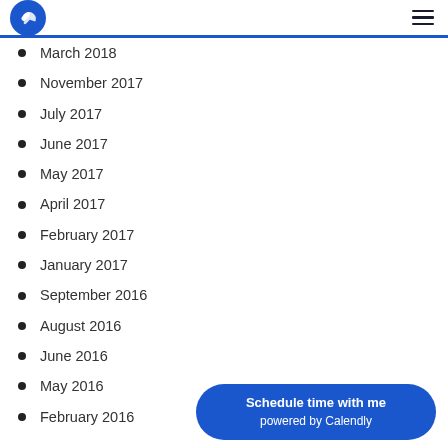Logo and navigation
March 2018
November 2017
July 2017
June 2017
May 2017
April 2017
February 2017
January 2017
September 2016
August 2016
June 2016
May 2016
February 2016
Schedule time with me powered by Calendly